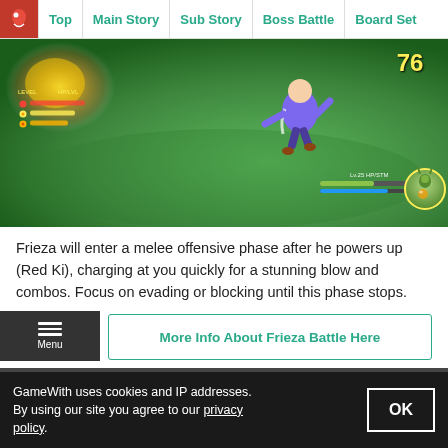Top | Main Story | Sub Story | Boss Battle | Board Set
[Figure (screenshot): In-game screenshot of Dragon Ball Z Kakarot battle on green field. A character in purple is shown mid-air. Top-right shows score 76. Bottom-right shows enemy Piccolo health/ki bar with portrait. Top-left shows player stats bars.]
Frieza will enter a melee offensive phase after he powers up (Red Ki), charging at you quickly for a stunning blow and combos. Focus on evading or blocking until this phase stops.
More Info About Frieza Battle Here
Story Progression Chart
GameWith uses cookies and IP addresses. By using our site you agree to our privacy policy.